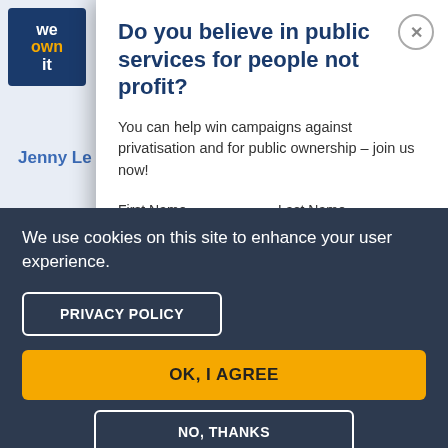[Figure (logo): We Own It logo - dark blue background with white text 'we', orange text 'own', white text 'it']
Do you believe in public services for people not profit?
You can help win campaigns against privatisation and for public ownership – join us now!
First Name   Last Name
We use cookies on this site to enhance your user experience.
PRIVACY POLICY
OK, I AGREE
NO, THANKS